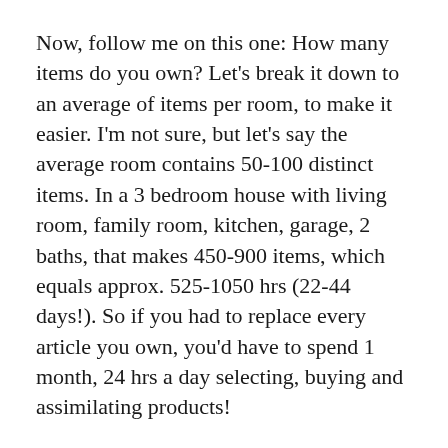Now, follow me on this one: How many items do you own? Let's break it down to an average of items per room, to make it easier. I'm not sure, but let's say the average room contains 50-100 distinct items. In a 3 bedroom house with living room, family room, kitchen, garage, 2 baths, that makes 450-900 items, which equals approx. 525-1050 hrs (22-44 days!). So if you had to replace every article you own, you'd have to spend 1 month, 24 hrs a day selecting, buying and assimilating products!
I don't know about you, but that's quite a number. Don't like my assumptions? Feel free to tweak the numbers and run through this exercise again, and I bet you'll still end up with